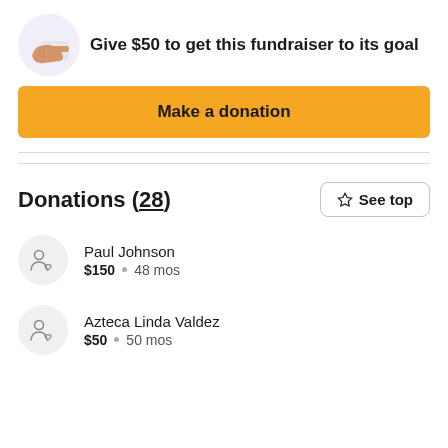Give $50 to get this fundraiser to its goal
Make a donation
Donations (28)
Paul Johnson · $150 · 48 mos
Azteca Linda Valdez · $50 · 50 mos